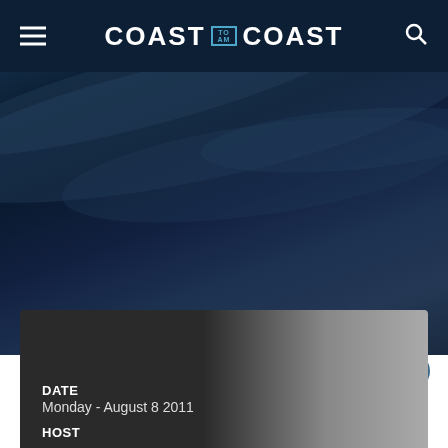COAST TO AM COAST
HAARP & Mind Control
[Figure (other): Social share icons: Facebook, Twitter, Email, Print]
DATE
Monday - August 8 2011
HOST